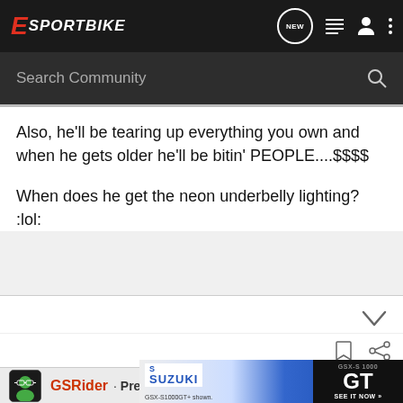E SPORTBIKE — navigation header with NEW, list, user, and menu icons
Search Community
Also, he'll be tearing up everything you own and when he gets older he'll be bitin' PEOPLE....$$$$ 

When does he get the neon underbelly lighting? :lol:
GSRider · Premium Member
[Figure (screenshot): Suzuki GSX-S1000 GT advertisement banner showing motorcycle with GSX-S1000 GT logo and SEE IT NOW button]